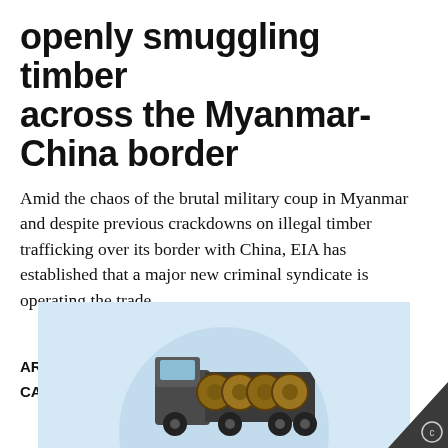openly smuggling timber across the Myanmar-China border
Amid the chaos of the brutal military coup in Myanmar and despite previous crackdowns on illegal timber trafficking over its border with China, EIA has established that a major new criminal syndicate is operating the trade
AREAS OF WORK: Forests
CAMPAIGNS: Timber trafficking
[Figure (photo): Photo of logs loaded on a truck, viewed from below, with a light blue circular crop on a light blue background. A dark grey triangular badge in the bottom right corner contains a copyright/watermark symbol.]